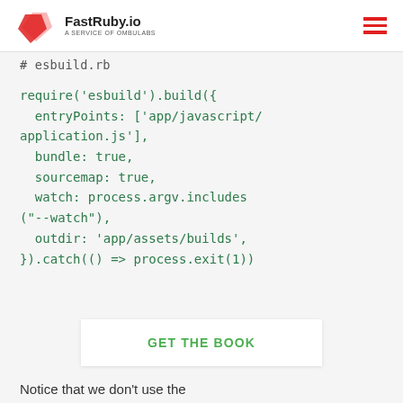FastRuby.io — A SERVICE OF OMBULABS
# esbuild.rb (truncated/cut off)
require('esbuild').build({
  entryPoints: ['app/javascript/application.js'],
  bundle: true,
  sourcemap: true,
  watch: process.argv.includes("--watch"),
  outdir: 'app/assets/builds',
}).catch(() => process.exit(1))
GET THE BOOK
Notice that we don't use the